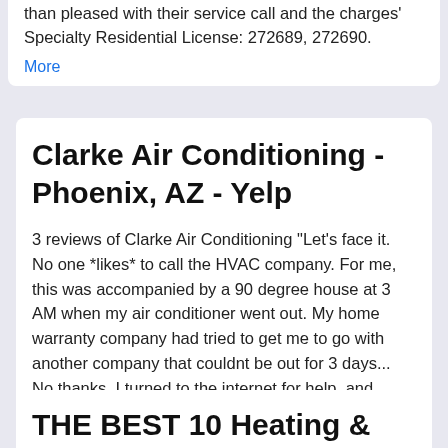than pleased with their service call and the charges' Specialty Residential License: 272689, 272690. More
Clarke Air Conditioning - Phoenix, AZ - Yelp
3 reviews of Clarke Air Conditioning "Let's face it. No one *likes* to call the HVAC company. For me, this was accompanied by a 90 degree house at 3 AM when my air conditioner went out. My home warranty company had tried to get me to go with another company that couldnt be out for 3 days... No thanks. I turned to the internet for help, and found Clarke AC which opens at 7 AM in the morning, so ... More
THE BEST 10 Heating & Air